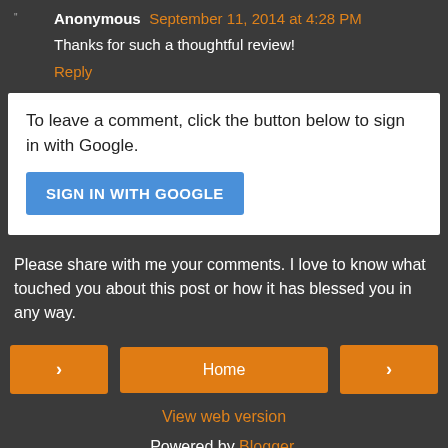Anonymous September 11, 2014 at 4:28 PM
Thanks for such a thoughtful review!
Reply
To leave a comment, click the button below to sign in with Google.
SIGN IN WITH GOOGLE
Please share with me your comments. I love to know what touched you about this post or how it has blessed you in any way.
Home
View web version
Powered by Blogger.